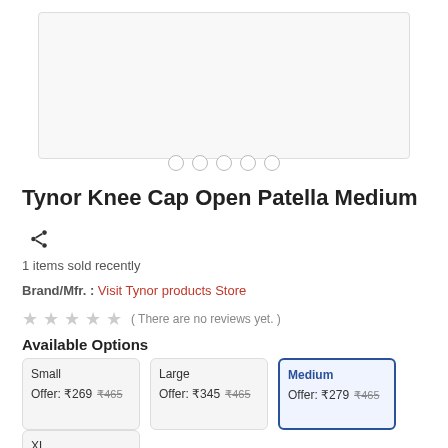[Figure (photo): Product image placeholder box for Tynor Knee Cap Open Patella Medium]
Tynor Knee Cap Open Patella Medium
1 items sold recently
Brand/Mfr. : Visit Tynor products Store
( There are no reviews yet. )
Available Options
| Option | Offer Price | Original Price |
| --- | --- | --- |
| Small | ₹269 | ₹465 |
| Large | ₹345 | ₹465 |
| Medium | ₹279 | ₹465 |
| XL |  | ₹465 |